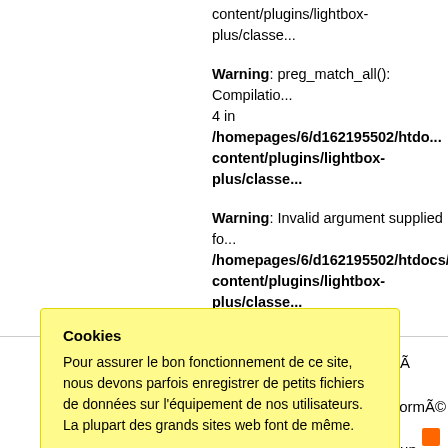content/plugins/lightbox-plus/classe...
Warning: preg_match_all(): Compilatio... 4 in /homepages/6/d162195502/htdo... content/plugins/lightbox-plus/classe...
Warning: Invalid argument supplied fo... /homepages/6/d162195502/htdocs/b... content/plugins/lightbox-plus/classe... [single...
Photo du tombeau de l'urne Ã PÃ©tra... J.-C, celui-ci a Ã©tÃ© transformÃ© e... surmontÃ©s d'un fro... mbe.
[Figure (other): Cookie consent popup with yellow background. Title: Cookies. Body text in French about cookies. Two buttons: Accept and Read more.]
Tous droits réservés. Utili...
Ngati...